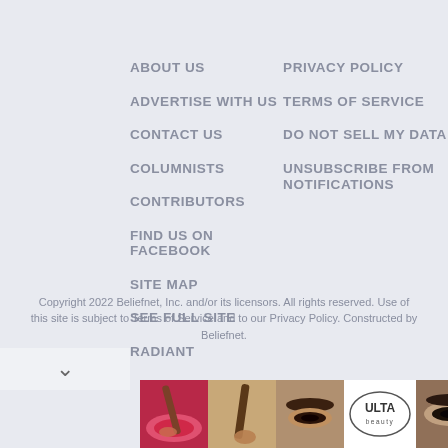ABOUT US
ADVERTISE WITH US
CONTACT US
COLUMNISTS
CONTRIBUTORS
FIND US ON FACEBOOK
SITE MAP
SEE FULL SITE
RADIANT
PRIVACY POLICY
TERMS OF SERVICE
DO NOT SELL MY DATA
UNSUBSCRIBE FROM NOTIFICATIONS
Copyright 2022 Beliefnet, Inc. and/or its licensors. All rights reserved. Use of this site is subject to Terms of Service and to our Privacy Policy. Constructed by Beliefnet.
[Figure (photo): ULTA beauty advertisement banner showing makeup-related images and SHOP NOW call to action]